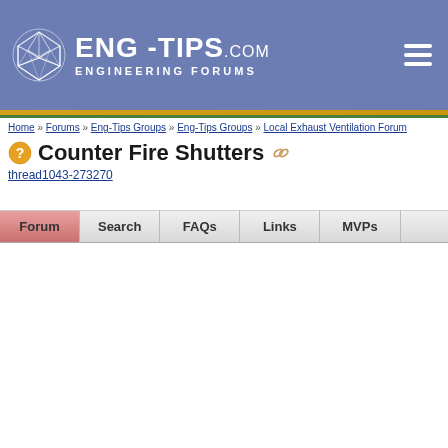ENG-TIPS.COM ENGINEERING FORUMS
Home » Forums » Eng-Tips Groups » Eng-Tips Groups » Local Exhaust Ventilation Forum
Counter Fire Shutters thread1043-273270
Forum | Search | FAQs | Links | MVPs